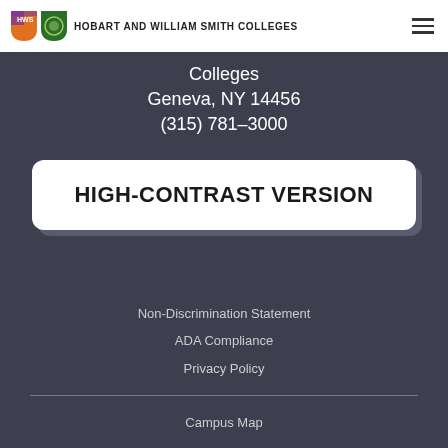Hobart and William Smith Colleges
Colleges
Geneva, NY 14456
(315) 781-3000
HIGH-CONTRAST VERSION
Non-Discrimination Statement
ADA Compliance
Privacy Policy
Campus Map